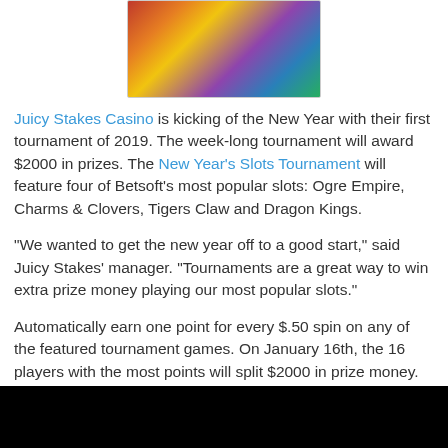[Figure (illustration): Colorful fantasy game characters illustration showing dragon and other creatures with bright glowing colors]
Juicy Stakes Casino is kicking of the New Year with their first tournament of 2019. The week-long tournament will award $2000 in prizes. The New Year's Slots Tournament will feature four of Betsoft's most popular slots: Ogre Empire, Charms & Clovers, Tigers Claw and Dragon Kings.
"We wanted to get the new year off to a good start," said Juicy Stakes' manager. "Tournaments are a great way to win extra prize money playing our most popular slots."
Automatically earn one point for every $.50 spin on any of the featured tournament games. On January 16th, the 16 players with the most points will split $2000 in prize money. First prize is $400. (Prizes must be rolled over at least once in order to be withdrawn.)
[Figure (photo): Black rectangle at bottom of page]